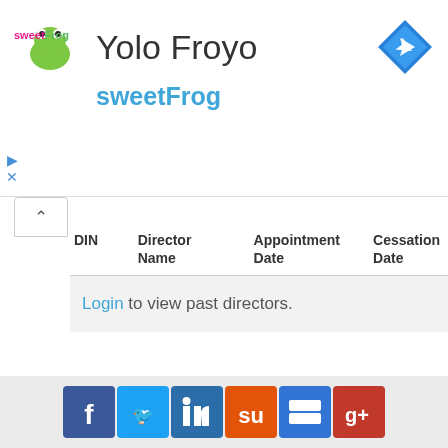[Figure (logo): sweetFrog logo with pink/multicolor text and frog icon]
Yolo Froyo
sweetFrog
[Figure (other): Blue diamond navigation/directions icon]
| DIN | Director Name | Appointment Date | Cessation Date |
| --- | --- | --- | --- |
| Login to view past directors. |  |  |  |
Companies with Similar Address
| CIN | Name | Addr |
| --- | --- | --- |
[Figure (other): Social media icons row: Facebook, Twitter, LinkedIn, StumbleUpon, Delicious, Google+]